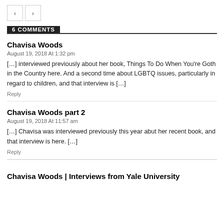6 COMMENTS
Chavisa Woods
August 19, 2018 At 1:32 pm
[…] interviewed previously about her book, Things To Do When You're Goth in the Country here. And a second time about LGBTQ issues, particularly in regard to children, and that interview is […]
Reply
Chavisa Woods part 2
August 19, 2018 At 11:57 am
[…] Chavisa was interviewed previously this year abut her recent book, and that interview is here. […]
Reply
Chavisa Woods | Interviews from Yale University